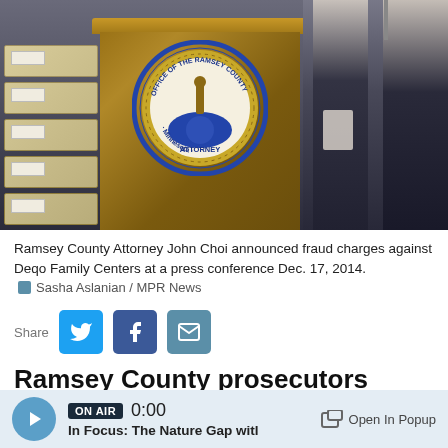[Figure (photo): Press conference showing a podium with the Ramsey County Attorney seal, stacks of boxes on the left, and officials standing on the right]
Ramsey County Attorney John Choi announced fraud charges against Deqo Family Centers at a press conference Dec. 17, 2014. Sasha Aslanian / MPR News
Share
Ramsey County prosecutors have charged four
ON AIR 0:00 In Focus: The Nature Gap witl Open In Popup